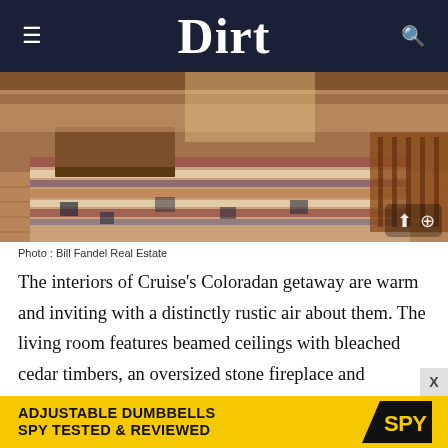Dirt
[Figure (photo): Interior photo of a rustic living room with a colorful striped rug on wooden floors, wooden furniture including a coffee table, and warm natural light. Photo credit: Bill Fandel Real Estate.]
Photo : Bill Fandel Real Estate
The interiors of Cruise's Coloradan getaway are warm and inviting with a distinctly rustic air about them. The living room features beamed ceilings with bleached cedar timbers, an oversized stone fireplace and charming French windows that serve up dramatic views of the tall peaks that surrou
[Figure (other): Advertisement banner: ADJUSTABLE DUMBBELLS SPY TESTED & REVIEWED — SPY logo on yellow background]